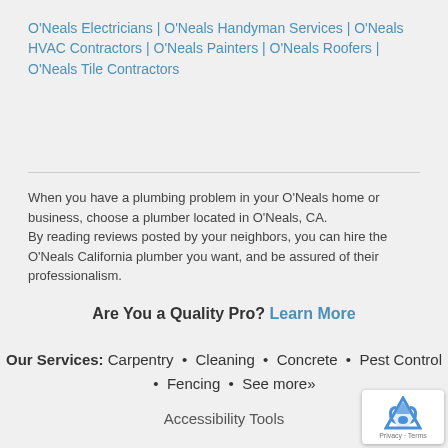O'Neals Electricians | O'Neals Handyman Services | O'Neals HVAC Contractors | O'Neals Painters | O'Neals Roofers | O'Neals Tile Contractors
When you have a plumbing problem in your O'Neals home or business, choose a plumber located in O'Neals, CA.
By reading reviews posted by your neighbors, you can hire the O'Neals California plumber you want, and be assured of their professionalism.
Are You a Quality Pro? Learn More
Our Services: Carpentry • Cleaning • Concrete • Pest Control • Fencing • See more»
Accessibility Tools